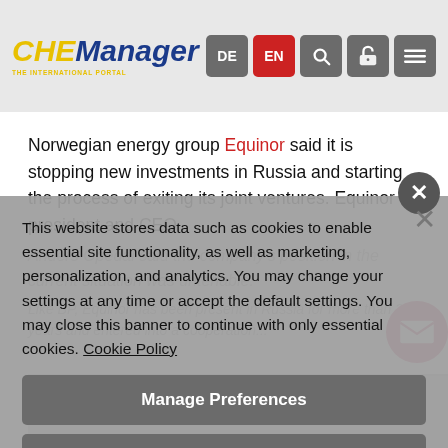CHEManager
Norwegian energy group Equinor said it is stopping new investments in Russia and starting the process of exiting its joint ventures. Equinor president and CEO Anders Opedal said the company's position in the current situation was untenable.
Like BP, Equinor has been present in Russia for more than 30 years and entered into a cooperation...
...country are valued... Subscribe to our Newsletter!
Author: Elaine Burridge, Freelance Journalist
This website stores data such as cookies to enable essential site functionality, as well as marketing, personalization, and analytics. You may change your settings at any time or accept the default settings. You may close this banner to continue with only essential cookies. Cookie Policy
Manage Preferences
Accept All
Reject All